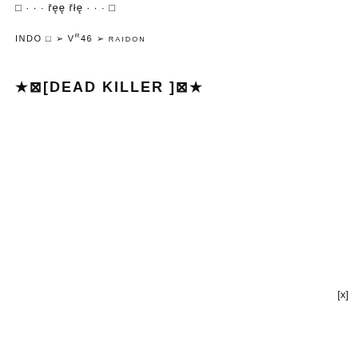□ · · · řęę řłę · · · □
INDO □ ➢ VR46 ➢ RAIDON
★ ☒ [ DEAD KILLER ] ☒ ★
[x]